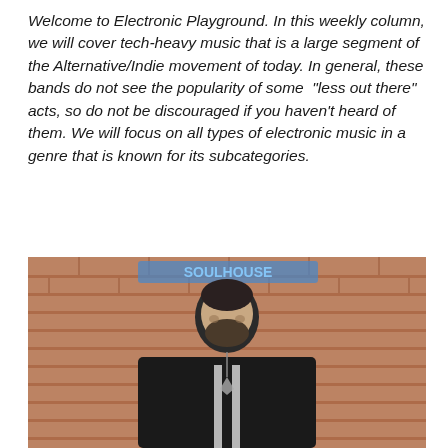Welcome to Electronic Playground. In this weekly column, we will cover tech-heavy music that is a large segment of the Alternative/Indie movement of today. In general, these bands do not see the popularity of some "less out there" acts, so do not be discouraged if you haven't heard of them. We will focus on all types of electronic music in a genre that is known for its subcategories.
[Figure (photo): A bearded man in a black hoodie stands in front of a red brick wall with a blue neon sign partially visible above him. He has short hair, a full beard, and wears a pendant necklace.]